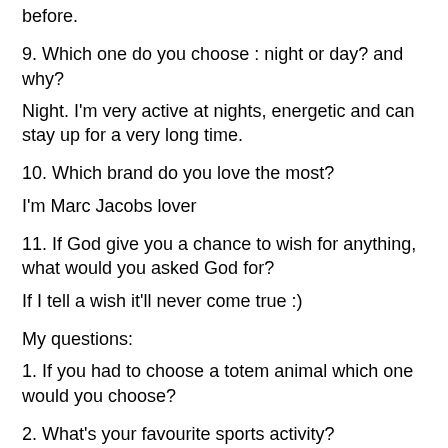before.
9. Which one do you choose : night or day? and why?
Night. I'm very active at nights, energetic and can stay up for a very long time.
10. Which brand do you love the most?
I'm Marc Jacobs lover
11. If God give you a chance to wish for anything, what would you asked God for?
If I tell a wish it'll never come true :)
My questions:
1. If you had to choose a totem animal which one would you choose?
2. What's your favourite sports activity?
3. Mall or Small shops?
4. Which location do you find perfect for a girls night out?
5. Do you do motivation boards? What is the most common something on it there?